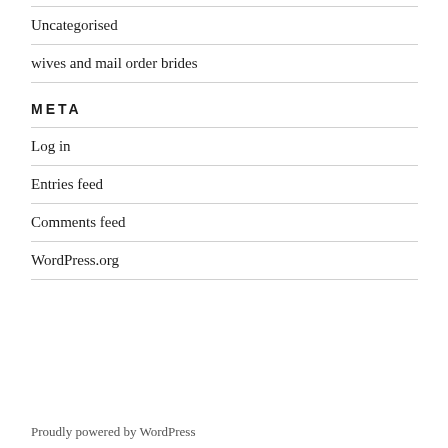Uncategorised
wives and mail order brides
META
Log in
Entries feed
Comments feed
WordPress.org
Proudly powered by WordPress